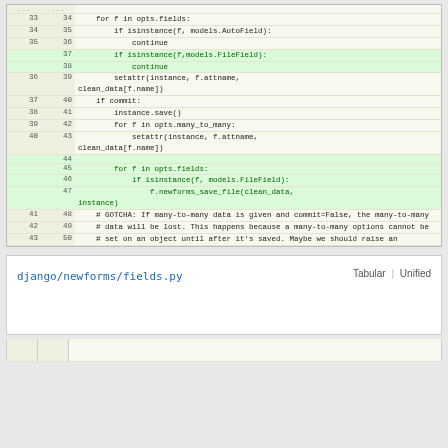[Figure (screenshot): Code diff view showing two panes. Top pane is a unified diff table with old/new line numbers and code. Added lines highlighted in green showing insertion of FileField handling code. Bottom pane shows file navigation link 'django/newforms/fields.py' with Tabular/Unified tab options.]
| old | new | code |
| --- | --- | --- |
| ... | ... |  |
| 33 | 34 |     for f in opts.fields: |
| 34 | 35 |         if isinstance(f, models.AutoField): |
| 35 | 36 |             continue |
|  | 37 |         if isinstance(f,models.FileField): |
|  | 38 |             continue |
| 36 | 39 |         setattr(instance, f.attname, clean_data[f.name]) |
| 37 | 40 |     if commit: |
| 38 | 41 |         instance.save() |
| 39 | 42 |         for f in opts.many_to_many: |
| 40 | 43 |             setattr(instance, f.attname, clean_data[f.name]) |
|  | 44 |  |
|  | 45 |         for f in opts.fields: |
|  | 46 |             if isinstance(f, models.FileField): |
|  | 47 |                 f.newforms_save_file(clean_data, instance) |
| 41 | 48 |     # GOTCHA: If many-to-many data is given and commit=False, the many-to-many |
| 42 | 49 |     # data will be lost. This happens because a many-to-many options cannot be |
| 43 | 50 |     # set on an object until after it's saved. Maybe we should raise an |
django/newforms/fields.py
Tabular | Unified